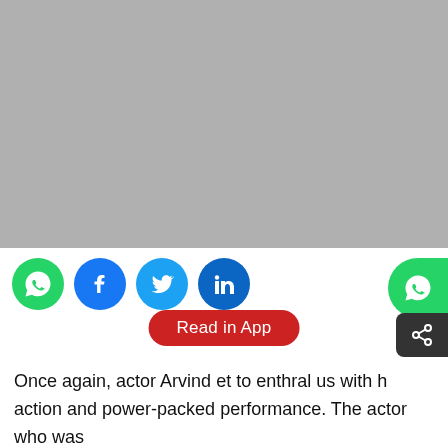[Figure (photo): Gray placeholder image at the top of the page]
[Figure (infographic): Social media sharing icons: WhatsApp (green), Facebook (blue), Twitter (light blue), LinkedIn (dark blue), and a WhatsApp button on the right side with a share icon below it. A red 'Read in App' pill button overlaid in the center.]
Once again, actor Arvind [partially obscured] to enthral us with his action and power-packed performance. The actor who was recently seen in 'Nawab', the dubbed version of Chekka Chivantha Vaanam is back with another dubbed film. The actor is pretty famous in Telugu film industry from Roja and Bombay [continues below]